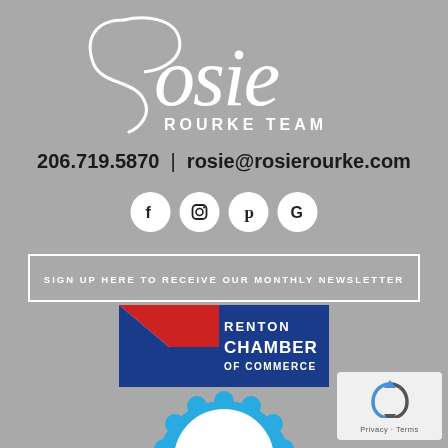[Figure (logo): Rosie Rourke Team script logo in white on gray background]
206.719.5870  |  rosie@rosierourke.com
[Figure (illustration): Four social media icons: Facebook, Instagram, Pinterest, Google in white circles]
SIGN UP HERE TO RECEIVE OUR MONTHLY NEWSLETTER
[Figure (logo): Renton Chamber of Commerce logo with red and blue swoosh graphic]
[Figure (logo): Best of badge - blue rosette ribbon partially visible]
[Figure (other): reCAPTCHA widget with Privacy and Terms text]